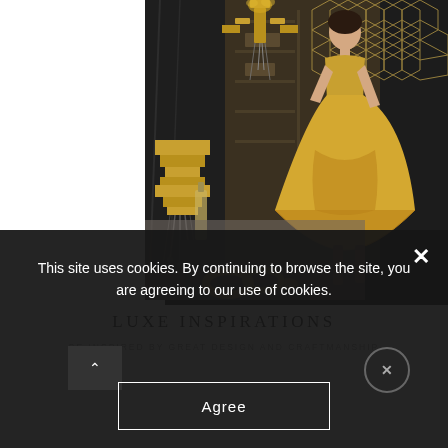[Figure (photo): Luxury lifestyle collage featuring a woman in a gold high-low ballgown, a gold Art Deco wall sconce/lamp, a dark luxury bedroom interior with marble walls, gold chandelier, and gold decorative objects on a black marble base, with a geometric gold pattern overlay in top right corner.]
LUXE INSPIRATIONS
BE INSPIRED BY GREAT DESIGN AND CRAFTMANSHIP
This site uses cookies. By continuing to browse the site, you are agreeing to our use of cookies.
Agree